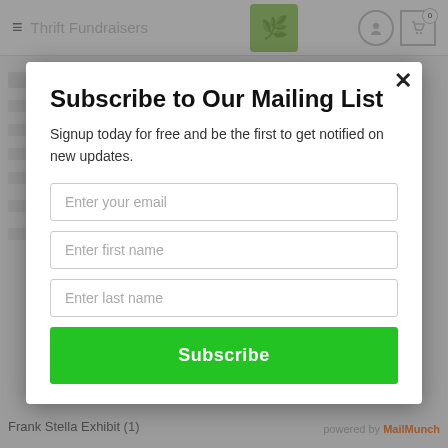[Figure (screenshot): Background of a website page showing a navigation bar with hamburger menu, site title 'Thrift Fundraisers', plant image, user icon, and cart icon with badge '0'. Below the nav are partially visible menu items. At the bottom is 'Frank Stella Exhibit (1)' text and 'powered by MailMunch' branding.]
Subscribe to Our Mailing List
Signup today for free and be the first to get notified on new updates.
Enter your email
Enter first name
Enter last name
Subscribe